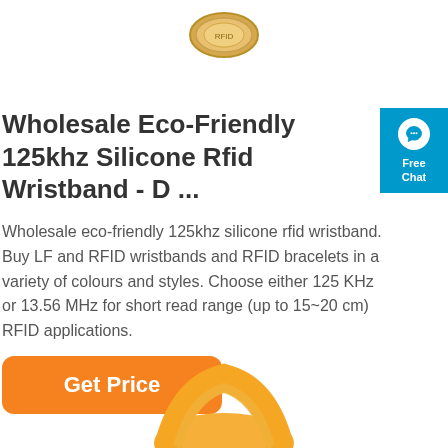[Figure (photo): Partial view of a circular RFID coin/tag product at the top of the page]
Wholesale Eco-Friendly 125khz Silicone Rfid Wristband - D ...
Wholesale eco-friendly 125khz silicone rfid wristband. Buy LF and RFID wristbands and RFID bracelets in a variety of colours and styles. Choose either 125 KHz or 13.56 MHz for short read range (up to 15~20 cm) RFID applications.
[Figure (screenshot): Blue chat widget on right side with chat bubble icon, text 'Free Chat']
[Figure (other): Orange 'Get Price' button]
[Figure (photo): Partial view of an orange silicone RFID wristband at the bottom of the page]